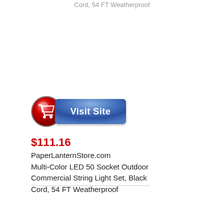Cord, 54 FT Weatherproof
[Figure (screenshot): Visit Site button with red circular shopping cart icon and blue rectangular button labeled 'Visit Site']
$111.16
PaperLanternStore.com
Multi-Color LED 50 Socket Outdoor Commercial String Light Set, Black Cord, 54 FT Weatherproof